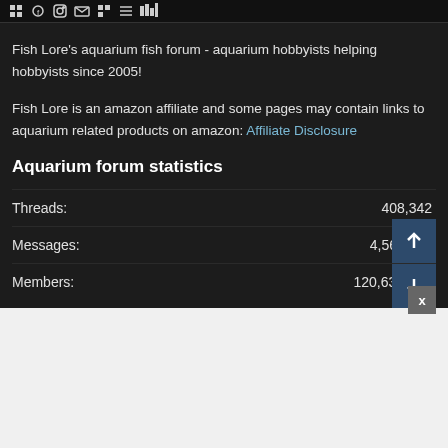Fish Lore aquarium fish forum - social media icons
Fish Lore's aquarium fish forum - aquarium hobbyists helping hobbyists since 2005!
Fish Lore is an amazon affiliate and some pages may contain links to aquarium related products on amazon: Affiliate Disclosure
Aquarium forum statistics
Threads: 408,342
Messages: 4,566,386
Members: 120,638